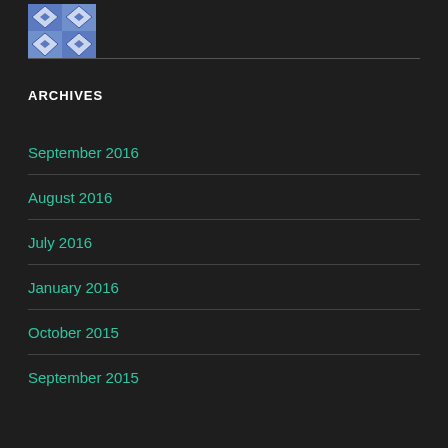[Figure (logo): Blue and white geometric/quilted pattern logo image]
ARCHIVES
September 2016
August 2016
July 2016
January 2016
October 2015
September 2015